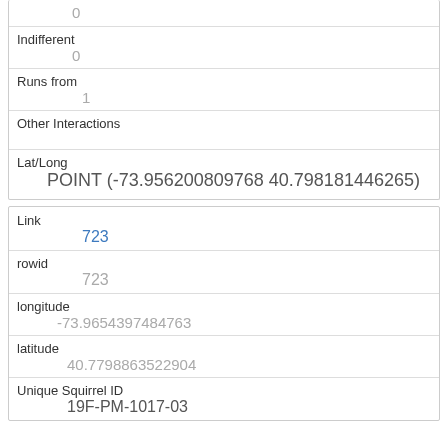| (partial field) | 0 |
| Indifferent | 0 |
| Runs from | 1 |
| Other Interactions |  |
| Lat/Long | POINT (-73.956200809768 40.798181446265) |
| Link | 723 |
| rowid | 723 |
| longitude | -73.9654397484763 |
| latitude | 40.7798863522904 |
| Unique Squirrel ID | 19F-PM-1017-03 |